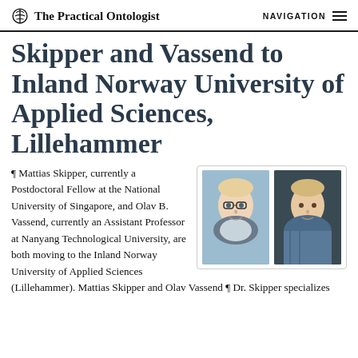The Practical Ontologist  NAVIGATION
Skipper and Vassend to Inland Norway University of Applied Sciences, Lillehammer
[Figure (photo): Two portrait photos side by side: left photo shows a young man with glasses and light hair smiling, right photo shows a man with light/blonde hair in a plaid shirt]
¶ Mattias Skipper, currently a Postdoctoral Fellow at the National University of Singapore, and Olav B. Vassend, currently an Assistant Professor at Nanyang Technological University, are both moving to the Inland Norway University of Applied Sciences (Lillehammer). Mattias Skipper and Olav Vassend ¶ Dr. Skipper specializes